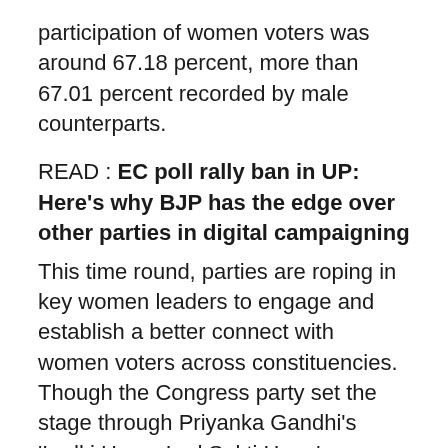participation of women voters was around 67.18 percent, more than 67.01 percent recorded by male counterparts.
READ : EC poll rally ban in UP: Here's why BJP has the edge over other parties in digital campaigning
This time round, parties are roping in key women leaders to engage and establish a better connect with women voters across constituencies.  Though the Congress party set the stage through Priyanka Gandhi's 'Ladki Hoon, Lad Sakti Hoon' campaign aimed at influencing the electorate, other parties are not lagging behind.
Koo App